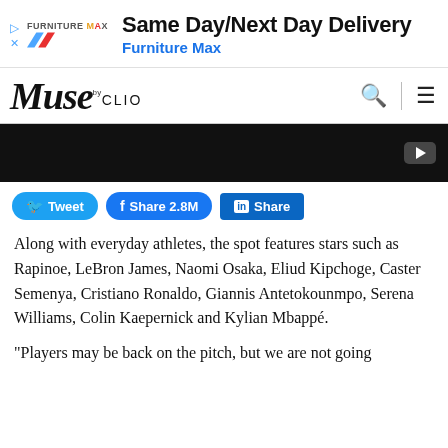[Figure (other): Furniture Max advertisement banner with logo, triangle/X icons, headline 'Same Day/Next Day Delivery' and subline 'Furniture Max']
[Figure (logo): Muse by CLIO logo navigation bar with search and hamburger menu icons]
[Figure (other): Dark video player area with play button icon]
[Figure (other): Social sharing buttons: Tweet, Share 2.8M (Facebook), Share (LinkedIn)]
Along with everyday athletes, the spot features stars such as Rapinoe, LeBron James, Naomi Osaka, Eliud Kipchoge, Caster Semenya, Cristiano Ronaldo, Giannis Antetokounmpo, Serena Williams, Colin Kaepernick and Kylian Mbappé.
"Players may be back on the pitch, but we are not going